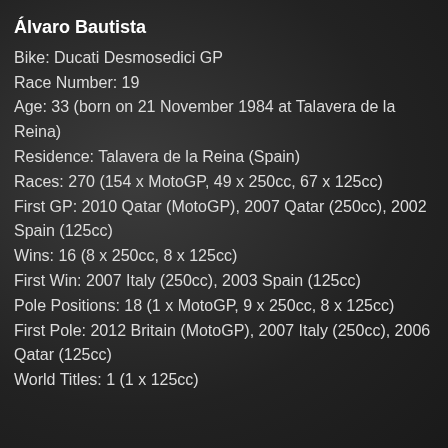Álvaro Bautista
Bike: Ducati Desmosedici GP
Race Number: 19
Age: 33 (born on 21 November 1984 at Talavera de la Reina)
Residence: Talavera de la Reina (Spain)
Races: 270 (154 x MotoGP, 49 x 250cc, 67 x 125cc)
First GP: 2010 Qatar (MotoGP), 2007 Qatar (250cc), 2002 Spain (125cc)
Wins: 16 (8 x 250cc, 8 x 125cc)
First Win: 2007 Italy (250cc), 2003 Spain (125cc)
Pole Positions: 18 (1 x MotoGP, 9 x 250cc, 8 x 125cc)
First Pole: 2012 Britain (MotoGP), 2007 Italy (250cc), 2006 Qatar (125cc)
World Titles: 1 (1 x 125cc)